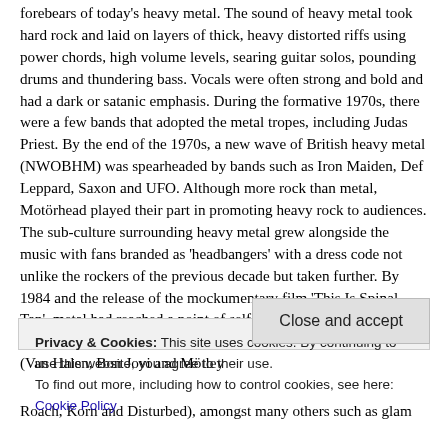forebears of today's heavy metal. The sound of heavy metal took hard rock and laid on layers of thick, heavy distorted riffs using power chords, high volume levels, searing guitar solos, pounding drums and thundering bass. Vocals were often strong and bold and had a dark or satanic emphasis. During the formative 1970s, there were a few bands that adopted the metal tropes, including Judas Priest. By the end of the 1970s, a new wave of British heavy metal (NWOBHM) was spearheaded by bands such as Iron Maiden, Def Leppard, Saxon and UFO. Although more rock than metal, Motörhead played their part in promoting heavy rock to audiences. The sub-culture surrounding heavy metal grew alongside the music with fans branded as 'headbangers' with a dress code not unlike the rockers of the previous decade but taken further. By 1984 and the release of the mockumentary film 'This Is Spinal Tap', metal had reached a point of self-parody. During the 1980s and beyond, metal gave birth to sub-genres including hair metal (Van Halen, Bon Jovi and Mötley
Privacy & Cookies: This site uses cookies. By continuing to use this website, you agree to their use.
To find out more, including how to control cookies, see here: Cookie Policy
Close and accept
Roach, Korn and Disturbed), amongst many others such as glam